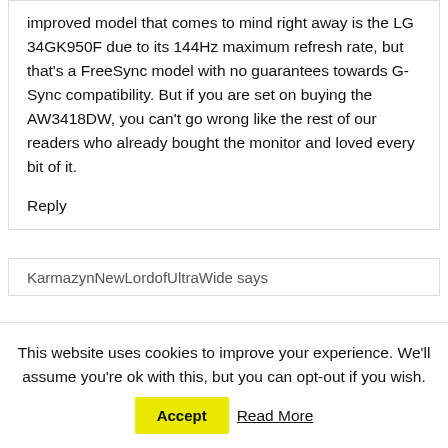improved model that comes to mind right away is the LG 34GK950F due to its 144Hz maximum refresh rate, but that's a FreeSync model with no guarantees towards G-Sync compatibility. But if you are set on buying the AW3418DW, you can't go wrong like the rest of our readers who already bought the monitor and loved every bit of it.
Reply
KarmazynNewLordofUltraWide says
This website uses cookies to improve your experience. We'll assume you're ok with this, but you can opt-out if you wish. Accept Read More